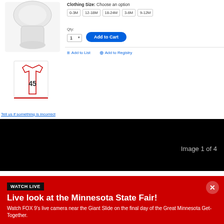[Figure (photo): Product image area showing a baby onesie/bodysuit product (glass-shaped item at top, jersey thumbnail with number 45 below)]
Clothing Size: Choose an option
0-3M  12-18M  18-24M  3-6M  9-12M
Qty: 1  Add to Cart
Add to List  Add to Registry
Tell us if something is incorrect
[Figure (screenshot): Dark/black section showing a video player or media area with text 'Image 1 of 4' in the lower right]
Image 1 of 4
[Figure (screenshot): Red banner advertisement for FOX 9 live coverage]
WATCH LIVE
Live look at the Minnesota State Fair!
Watch FOX 9's live camera near the Giant Slide on the final day of the Great Minnesota Get-Together.